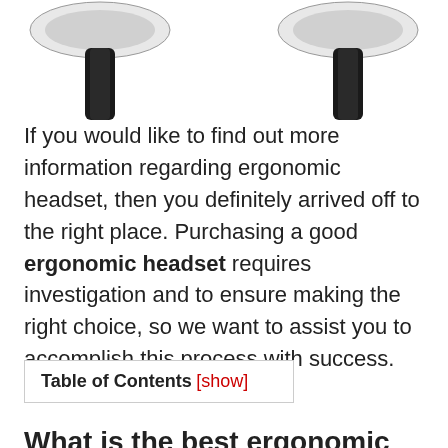[Figure (photo): Two white over-ear headphones/headsets shown from above against a white background — one on the left side and one on the right side of the image.]
If you would like to find out more information regarding ergonomic headset, then you definitely arrived off to the right place. Purchasing a good ergonomic headset requires investigation and to ensure making the right choice, so we want to assist you to accomplish this process with success.
| Table of Contents [show] |
| --- |
What is the best ergonomic